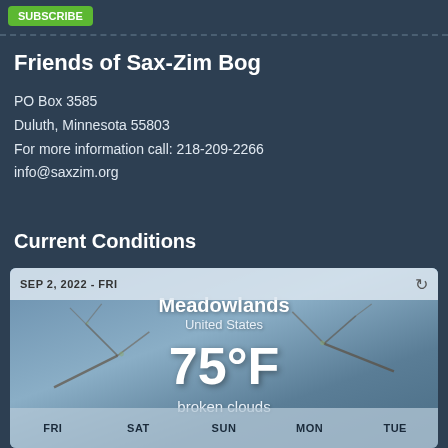[Figure (screenshot): Green Subscribe button at top left]
Friends of Sax-Zim Bog
PO Box 3585
Duluth, Minnesota 55803
For more information call: 218-209-2266
info@saxzim.org
Current Conditions
[Figure (screenshot): Weather widget showing SEP 2, 2022 - FRI, Meadowlands United States, 75°F, broken clouds, with forecast days FRI SAT SUN MON TUE shown at bottom. Background shows a bird on winter branches.]